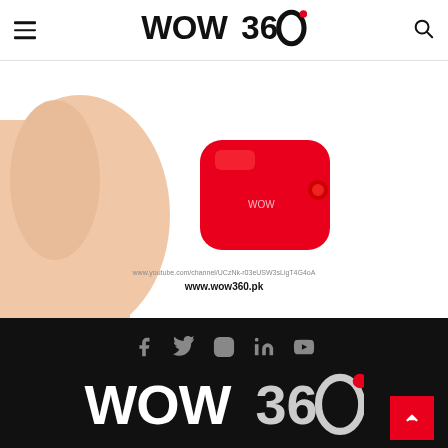WOW 360 — website header with hamburger menu and search icon
[Figure (screenshot): Partial product image showing a hand holding a red device, with www.wow360.pk URL text visible at the bottom of the image]
[Figure (logo): Social media icons in grey: Facebook, Twitter, Instagram, LinkedIn, YouTube — on dark background footer]
[Figure (logo): WOW 360 logo in white on dark/black background footer with red back-to-top button]